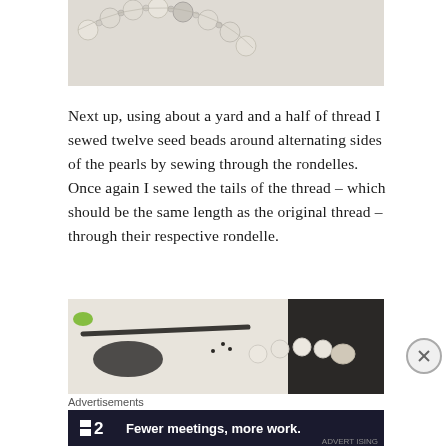[Figure (photo): Close-up photo of pearl and bead necklace arranged on a white fabric surface]
Next up, using about a yard and a half of thread I sewed twelve seed beads around alternating sides of the pearls by sewing through the rondelles. Once again I sewed the tails of the thread – which should be the same length as the original thread – through their respective rondelle.
[Figure (photo): Photo showing seed beads, pearls, and stringing materials laid out on a white surface with dark beadwork]
Advertisements
[Figure (other): Advertisement banner for F2 with text: Fewer meetings, more work.]